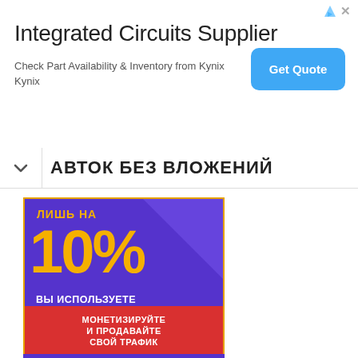[Figure (screenshot): Advertisement banner for Integrated Circuits Supplier - Kynix, showing title, body text, and Get Quote button]
Integrated Circuits Supplier
Check Part Availability & Inventory from Kynix Kynix
АВТОК БЕЗ ВЛОЖЕНИЙ
[Figure (infographic): Purple advertisement block in Russian: ЛИШЬ НА 10% ВЫ ИСПОЛЬЗУЕТЕ СВОЙ ИНТЕРНЕТ / МОНЕТИЗИРУЙТЕ И ПРОДАВАЙТЕ СВОЙ ТРАФИК / С PEER2PROFIT]